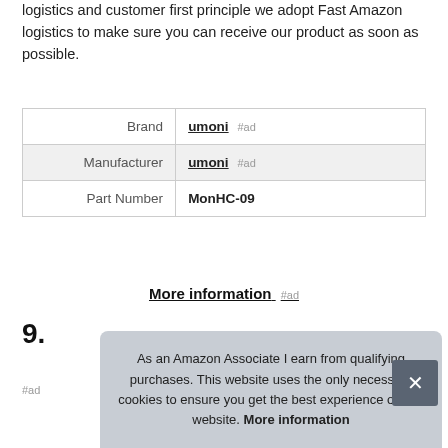logistics and customer first principle we adopt Fast Amazon logistics to make sure you can receive our product as soon as possible.
|  |  |
| --- | --- |
| Brand | umoni #ad |
| Manufacturer | umoni #ad |
| Part Number | MonHC-09 |
More information #ad
9.
#ad
As an Amazon Associate I earn from qualifying purchases. This website uses the only necessary cookies to ensure you get the best experience on our website. More information